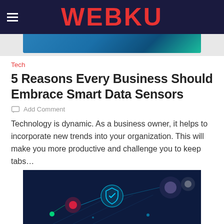WEBKU
[Figure (photo): Top banner image, partially visible, appears to be a tech/ocean themed image]
Tech
5 Reasons Every Business Should Embrace Smart Data Sensors
Add Comment
Technology is dynamic. As a business owner, it helps to incorporate new trends into your organization. This will make you more productive and challenge you to keep tabs…
[Figure (photo): Tech illustration showing cybersecurity/data shield with glowing network connections on dark blue background]